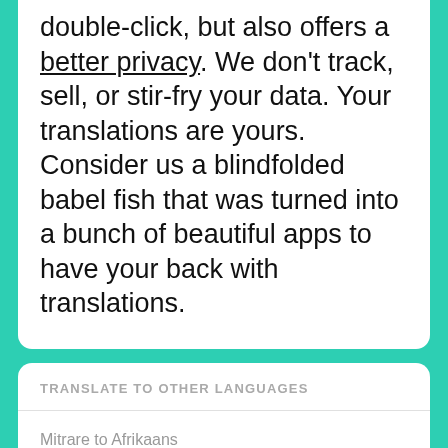double-click, but also offers a better privacy. We don't track, sell, or stir-fry your data. Your translations are yours. Consider us a blindfolded babel fish that was turned into a bunch of beautiful apps to have your back with translations.
TRANSLATE TO OTHER LANGUAGES
Mitrare to Afrikaans
Mitrare to Albanian
Mitrare to Amharic
Mitrare to Arabic